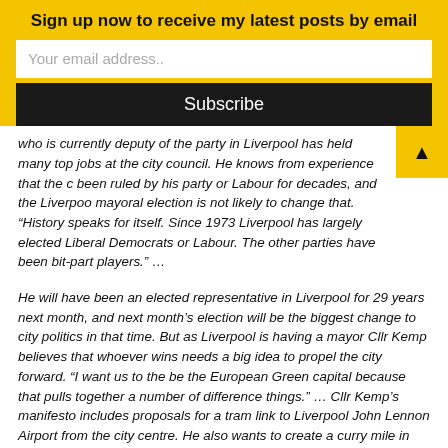Sign up now to receive my latest posts by email
Your email address..
Subscribe
who is currently deputy of the party in Liverpool has held many top jobs at the city council. He knows from experience that the c been ruled by his party or Labour for decades, and the Liverpool mayoral election is not likely to change that. “History speaks for itself. Since 1973 Liverpool has largely elected Liberal Democrats or Labour. The other parties have been bit-part players.” …
He will have been an elected representative in Liverpool for 29 years next month, and next month’s election will be the biggest change to city politics in that time. But as Liverpool is having a mayor Cllr Kemp believes that whoever wins needs a big idea to propel the city forward. “I want us to the be the European Green capital because that pulls together a number of difference things.” … Cllr Kemp’s manifesto includes proposals for a tram link to Liverpool John Lennon Airport from the city centre. He also wants to create a curry mile in Lodge Lane, Toxteth and set up a Liverpool Bond with the aim of raising £100m for infrastructure.